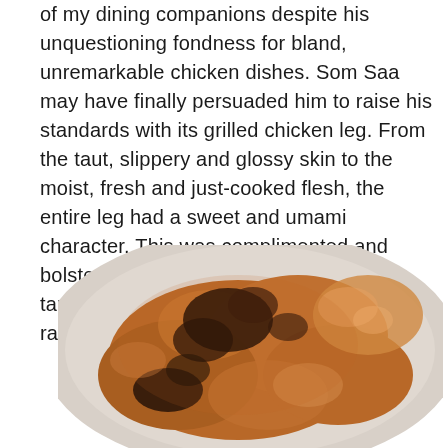of my dining companions despite his unquestioning fondness for bland, unremarkable chicken dishes. Som Saa may have finally persuaded him to raise his standards with its grilled chicken leg. From the taut, slippery and glossy skin to the moist, fresh and just-cooked flesh, the entire leg had a sweet and umami character. This was complimented and bolstered by the sweet and smoky tamarind-based dipping sauce. Chicken rarely tastes this good.
[Figure (photo): A plate of grilled chicken pieces with charred, caramelized skin served on a white plate. The chicken appears glazed with a tamarind-based sauce, with dark charred spots visible on the surface.]